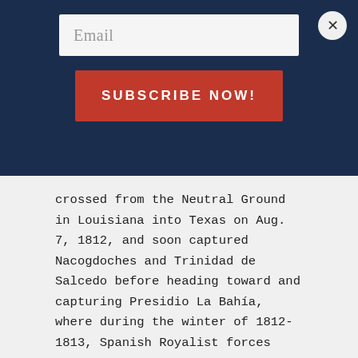Email
SUBSCRIBE NOW!
crossed from the Neutral Ground in Louisiana into Texas on Aug. 7, 1812, and soon captured Nacogdoches and Trinidad de Salcedo before heading toward and capturing Presidio La Bahía, where during the winter of 1812-1813, Spanish Royalist forces under Texas Governor Manuel de Salcedo and Nuevo León Governor Simón de Herrera besieged the Republicans for nearly four months, one of the longest sieges—if not the longest—in American military history. Royalists lifted the siege, and the Republicans marched toward San Antonio and